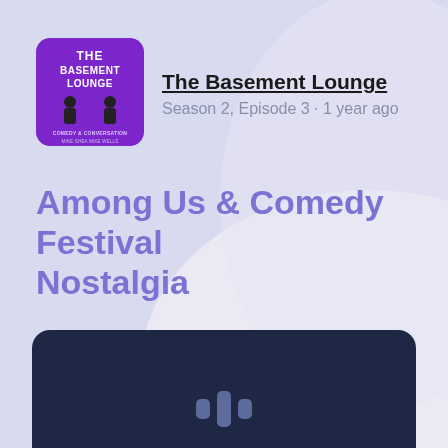[Figure (logo): The Basement Lounge podcast cover art — purple background with two figures and the text 'THE BASEMENT LOUNGE COMEDY & CONVERSATION MIKE SHEA MIKE WELLS']
The Basement Lounge
Season 2, Episode 3 · 1 year ago
Among Us & Comedy Festival Nostalgia
[Figure (other): Dark navy audio player widget with a podcast/audio waveform bars icon in the center]
ABOUT THIS EPISODE